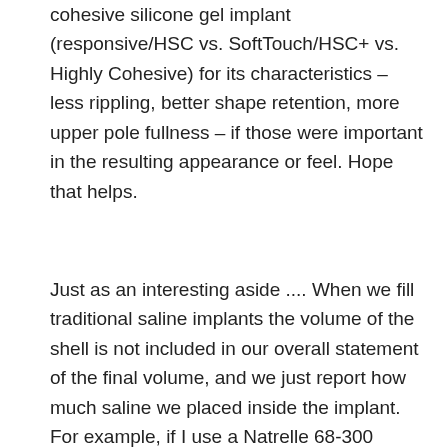cohesive silicone gel implant (responsive/HSC vs. SoftTouch/HSC+ vs. Highly Cohesive) for its characteristics – less rippling, better shape retention, more upper pole fullness – if those were important in the resulting appearance or feel. Hope that helps.
Just as an interesting aside .... When we fill traditional saline implants the volume of the shell is not included in our overall statement of the final volume, and we just report how much saline we placed inside the implant. For example, if I use a Natrelle 68-300 saline implant, this implant has a recommended fill